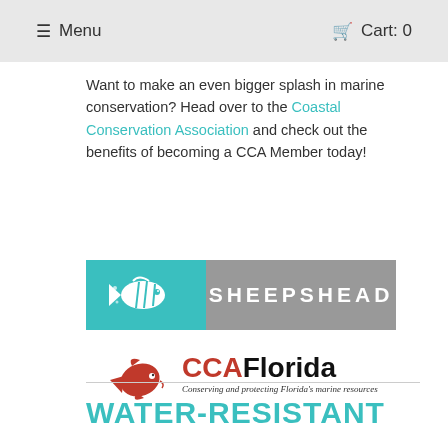☰ Menu   🛒 Cart: 0
Want to make an even bigger splash in marine conservation? Head over to the Coastal Conservation Association and check out the benefits of becoming a CCA Member today!
[Figure (logo): Sheepshead logo — teal left panel with white fish icon, gray right panel with white bold text SHEEPSHEAD]
[Figure (logo): CCA Florida logo — red fish icon on left, red CCA and black Florida text, italic tagline 'Conserving and protecting Florida's marine resources']
WATER-RESISTANT